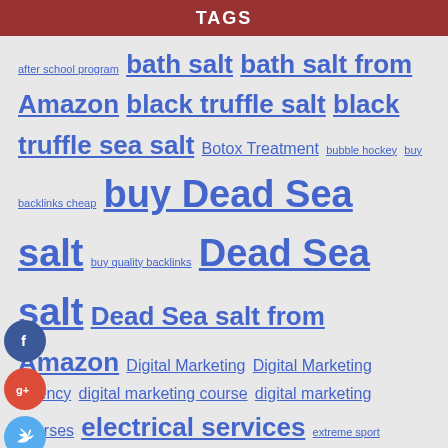TAGS
after school program bath salt bath salt from Amazon black truffle salt black truffle sea salt Botox Treatment bubble hockey buy backlinks cheap buy Dead Sea salt buy quality backlinks Dead Sea salt Dead Sea salt from Amazon Digital Marketing Digital Marketing Agency digital marketing course digital marketing courses electrical services extreme sport Furniture health Himalayan pink salt Himalayan salt kids birthday party marketing marketing automation course marketing courses online marketing courses paragliding paragliding in himchal Pink Himalayan salt Pink salt pure Dead Sea salt Responsive Web Design seo Services social media marketing tips for
[Figure (infographic): Social media sharing buttons: Facebook (blue circle with f), Google+ (red circle with g+), Twitter (light blue circle with bird), Add/More (dark circle with + sign)]